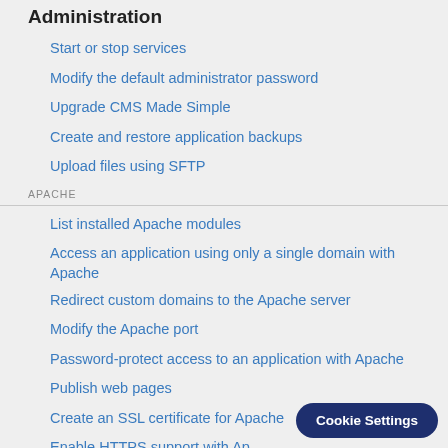Administration
Start or stop services
Modify the default administrator password
Upgrade CMS Made Simple
Create and restore application backups
Upload files using SFTP
APACHE
List installed Apache modules
Access an application using only a single domain with Apache
Redirect custom domains to the Apache server
Modify the Apache port
Password-protect access to an application with Apache
Publish web pages
Create an SSL certificate for Apache
Enable HTTPS support with Ap…
Cookie Settings